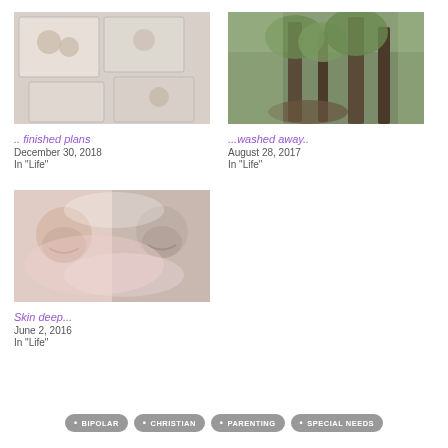[Figure (photo): Grid of printed photographs laid on a surface]
.. finished plans
December 30, 2018
In "Life"
[Figure (photo): Forest scene with trees and roots]
...washed away..
August 28, 2017
In "Life"
[Figure (photo): Double-exposure portrait of a smiling child]
Skin deep...
June 2, 2016
In "Life"
BIPOLAR  CHRISTIAN  PARENTING  SPECIAL NEEDS